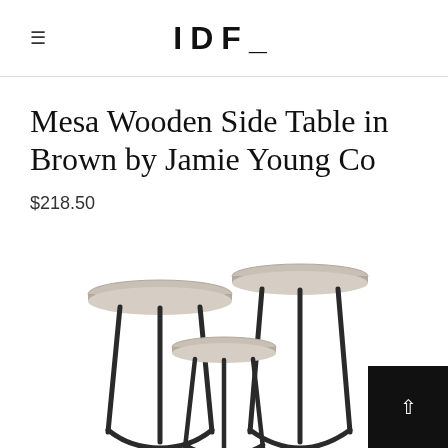IDF_
Mesa Wooden Side Table in Brown by Jamie Young Co
$218.50
[Figure (photo): Product photo showing three round-top metal side tables in varying heights with light grey wooden tops and black metal legs, arranged together, partially cropped at bottom.]